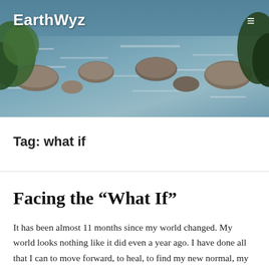[Figure (photo): A nature photo of a rocky stream with flowing water, green foliage and rocks visible, used as website header background image.]
EarthWyz
Tag: what if
Facing the “What If”
It has been almost 11 months since my world changed. My world looks nothing like it did even a year ago. I have done all that I can to move forward, to heal, to find my new normal, my new way of being. There are days where I stand frozen in fear. Afraid to take another step for fear that it will be the wrong step and my world will blow up again. The